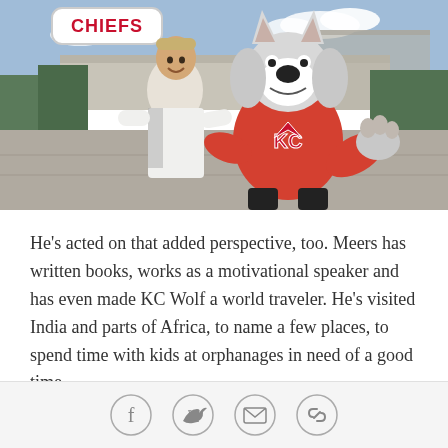[Figure (photo): A man in a white polo shirt posing with the KC Wolf mascot (a wolf in a red KC Chiefs jersey) outside Arrowhead Stadium. A 'Chiefs' sign is visible in the background.]
He's acted on that added perspective, too. Meers has written books, works as a motivational speaker and has even made KC Wolf a world traveler. He's visited India and parts of Africa, to name a few places, to spend time with kids at orphanages in need of a good time.
"These kids may not know who KC Wolf is – they might not even know much about football – but if you show up
[Figure (infographic): Social sharing icons row: Facebook, Twitter, Email/envelope, and link/chain icon]